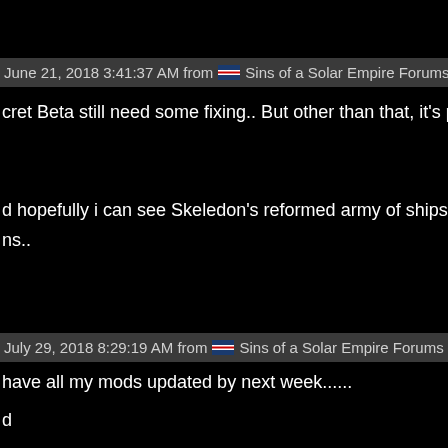June 21, 2018 3:41:37 AM from  Sins of a Solar Empire Forums
cret Beta still need some fixing.. But other than that, it's pretty go
d hopefully i can see Skeledon's reformed army of ships ranging ns..
July 29, 2018 8:29:19 AM from  Sins of a Solar Empire Forums
have all my mods updated by next week......
d